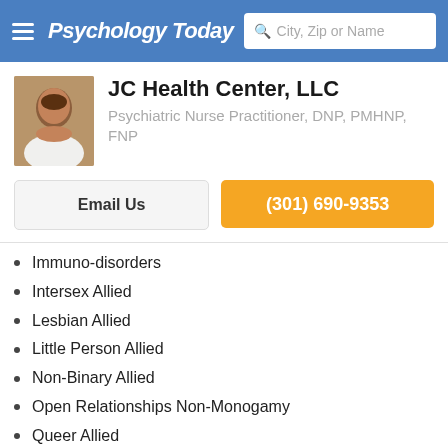Psychology Today — City, Zip or Name
JC Health Center, LLC
Psychiatric Nurse Practitioner, DNP, PMHNP, FNP
Email Us
(301) 690-9353
Immuno-disorders
Intersex Allied
Lesbian Allied
Little Person Allied
Non-Binary Allied
Open Relationships Non-Monogamy
Queer Allied
Racial Justice Allied
Single Mother
Transgender Allied
Vegan Allied